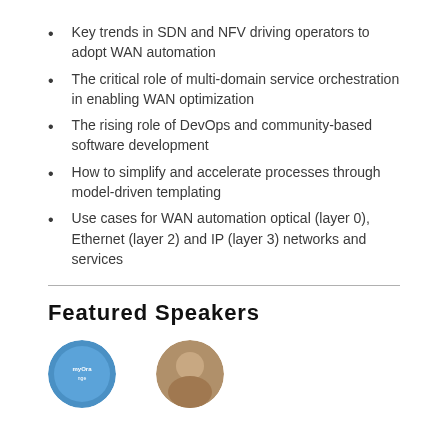Key trends in SDN and NFV driving operators to adopt WAN automation
The critical role of multi-domain service orchestration in enabling WAN optimization
The rising role of DevOps and community-based software development
How to simplify and accelerate processes through model-driven templating
Use cases for WAN automation optical (layer 0), Ethernet (layer 2) and IP (layer 3) networks and services
Featured Speakers
[Figure (photo): Two speaker profile photos shown partially at the bottom of the page]